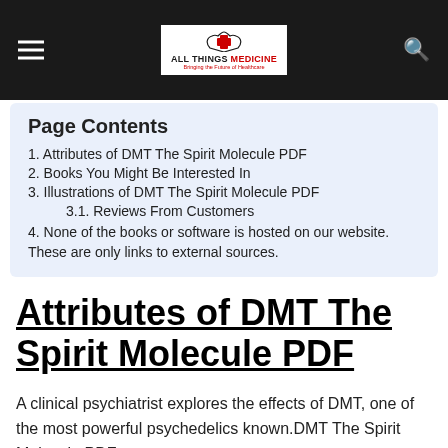[Figure (logo): All Things Medicine logo with red cross and hands, text: ALL THINGS MEDICINE, Bringing the Future of Healthcare]
Page Contents
1. Attributes of DMT The Spirit Molecule PDF
2. Books You Might Be Interested In
3. Illustrations of DMT The Spirit Molecule PDF
3.1. Reviews From Customers
4. None of the books or software is hosted on our website. These are only links to external sources.
Attributes of DMT The Spirit Molecule PDF
A clinical psychiatrist explores the effects of DMT, one of the most powerful psychedelics known.DMT The Spirit Molecule PDF